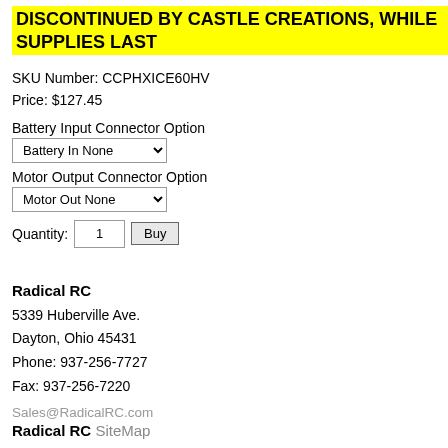DISCONTINUED BY CASTLE CREATIONS, WHILE SUPPLIES LAST
SKU Number: CCPHXICE60HV
Price: $127.45
Battery Input Connector Option
Battery In None [dropdown]
Motor Output Connector Option
Motor Out None [dropdown]
Quantity: [input] Buy
Radical RC
5339 Huberville Ave.
Dayton, Ohio 45431
Phone: 937-256-7727
Fax: 937-256-7220
Sales@RadicalRC.com
Radical RC SiteMap